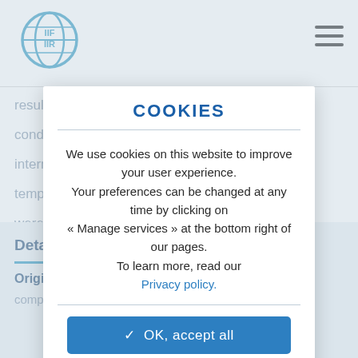[Figure (logo): IIF/IIR globe logo — circular globe icon with 'IIF' and 'IIR' text, in blue]
COOKIES
We use cookies on this website to improve your user experience.
Your preferences can be changed at any time by clicking on
« Manage services » at the bottom right of our pages.
To learn more, read our Privacy policy.
✓ OK, accept all
✗ Deny all cookies